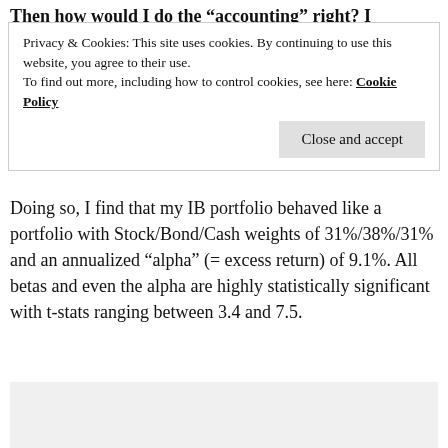Then how would I do the “accounting” right? I
Privacy & Cookies: This site uses cookies. By continuing to use this website, you agree to their use.
To find out more, including how to control cookies, see here: Cookie Policy
Doing so, I find that my IB portfolio behaved like a portfolio with Stock/Bond/Cash weights of 31%/38%/31% and an annualized “alpha” (= excess return) of 9.1%. All betas and even the alpha are highly statistically significant with t-stats ranging between 3.4 and 7.5.
[Figure (other): Light gray placeholder rectangle for a chart or image below the main text]